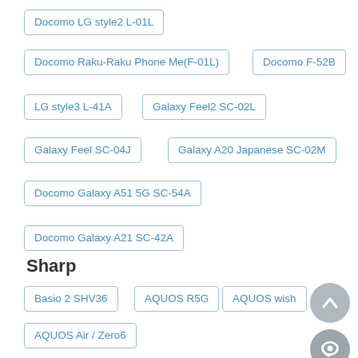Docomo LG style2 L-01L
Docomo Raku-Raku Phone Me(F-01L)
Docomo F-52B
LG style3 L-41A
Galaxy Feel2 SC-02L
Galaxy Feel SC-04J
Galaxy A20 Japanese SC-02M
Docomo Galaxy A51 5G SC-54A
Docomo Galaxy A21 SC-42A
Sharp
Basio 2 SHV36
AQUOS R5G
AQUOS wish
AQUOS Air / Zero6
AQUOS Zero2 SH-01M
AQUOS R3 SHV44
Aquos R2 Compact